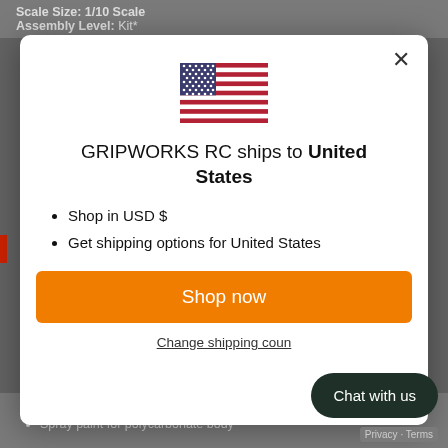Scale Size: 1/10 Scale
Assembly Level: Kit*
[Figure (illustration): US flag SVG illustration centered in modal]
GRIPWORKS RC ships to United States
Shop in USD $
Get shipping options for United States
Shop now
Change shipping country
Chat with us
Steering servo
Spray paint for polycarbonate body
Privacy · Terms